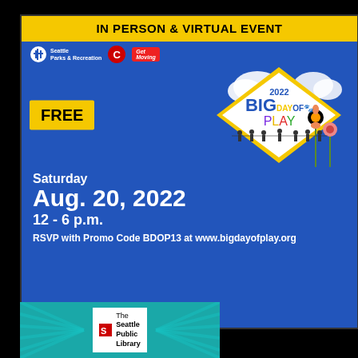[Figure (infographic): Big Day of Play 2022 event flyer. Blue background poster with yellow banner at top reading IN PERSON & VIRTUAL EVENT. Seattle Parks & Recreation, Comcast, and Get Moving logos. Diamond-shaped logo in center with '2022 BIG DAY OF PLAY' text. FREE badge on left. Text: Saturday Aug. 20, 2022, 12-6 p.m., RSVP with Promo Code BDOP13 at www.bigdayofplay.org. Floral illustration at bottom right.]
[Figure (logo): The Seattle Public Library logo on teal background with radiating rays pattern.]